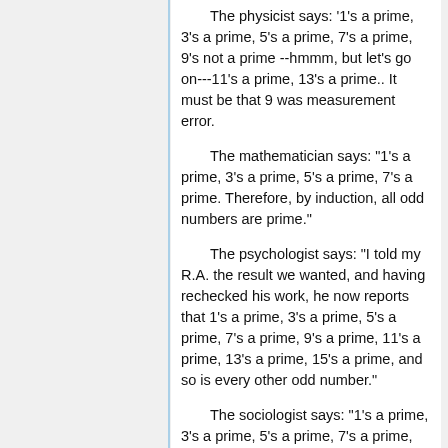The physicist says: '1's a prime, 3's a prime, 5's a prime, 7's a prime, 9's not a prime --hmmm, but let's go on---11's a prime, 13's a prime.. It must be that 9 was measurement error.
The mathematician says: "1's a prime, 3's a prime, 5's a prime, 7's a prime. Therefore, by induction, all odd numbers are prime."
The psychologist says: "I told my R.A. the result we wanted, and having rechecked his work, he now reports that 1's a prime, 3's a prime, 5's a prime, 7's a prime, 9's a prime, 11's a prime, 13's a prime, 15's a prime, and so is every other odd number."
The sociologist says: "1's a prime, 3's a prime, 5's a prime, 7's a prime, 9's a prime,..."